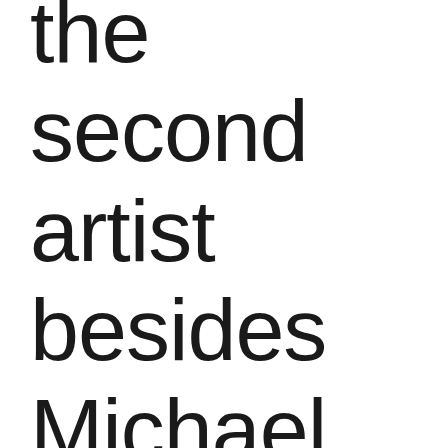the second artist besides Michael Jackson to reach a year